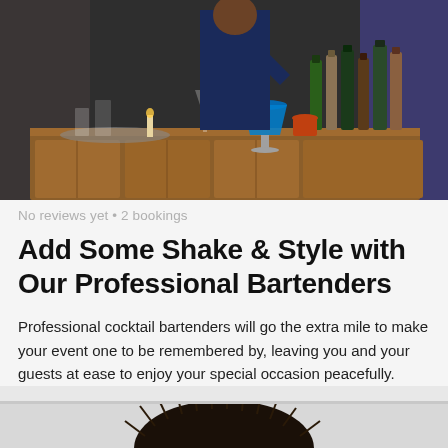[Figure (photo): A bartender behind a wooden bar counter pouring a blue cocktail, with various bottles of spirits and glassware visible on the bar.]
No reviews yet • 2 bookings
Add Some Shake & Style with Our Professional Bartenders
Professional cocktail bartenders will go the extra mile to make your event one to be remembered by, leaving you and your guests at ease to enjoy your special occasion peacefully.
from £192 / per event
[Figure (photo): Partial view of a dark fluffy/spiky decorative object, possibly a cocktail garnish or decoration, at the bottom of the page.]